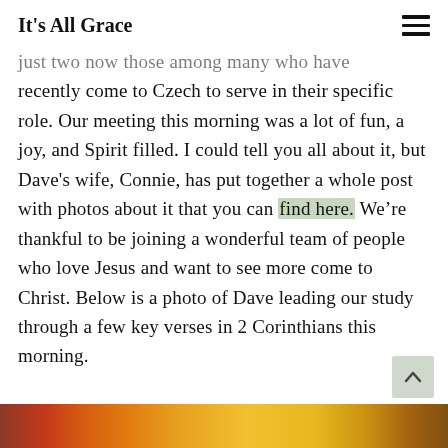It's All Grace
just two now those among many who have recently come to Czech to serve in their specific role. Our meeting this morning was a lot of fun, a joy, and Spirit filled. I could tell you all about it, but Dave's wife, Connie, has put together a whole post with photos about it that you can find here. We're thankful to be joining a wonderful team of people who love Jesus and want to see more come to Christ. Below is a photo of Dave leading our study through a few key verses in 2 Corinthians this morning.
[Figure (photo): Bottom strip of a photo showing warm yellow, orange, and red tones — partial view of an image at the bottom of the page.]